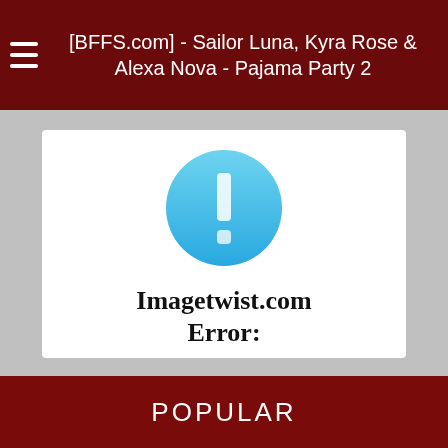[BFFS.com] - Sailor Luna, Kyra Rose & Alexa Nova - Pajama Party 2
[Figure (screenshot): Imagetwist.com error page showing a blue circle with exclamation mark icon and text: Imagetwist.com Error: This image is deleted or moved from our servers.]
[TeensLoveBlackCocks.com] - Alexa Nova And Big Black Cock
POPULAR